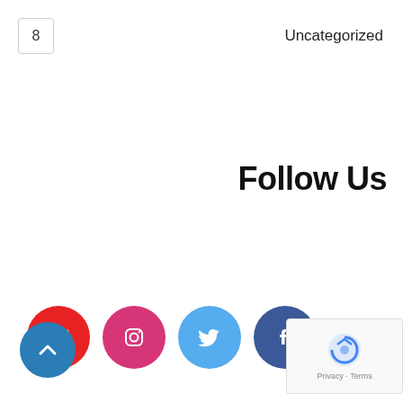8
Uncategorized
Follow Us
[Figure (infographic): Four social media icon circles in a row: YouTube (red), Instagram (pink/red), Twitter (light blue), Facebook (dark blue)]
כלים
התחבר
פיד הרשומות
תגובות
WordPress.Org
[Figure (other): reCAPTCHA widget overlay with logo and Privacy/Terms text]
[Figure (other): Back to top teal circle button with upward chevron arrow]